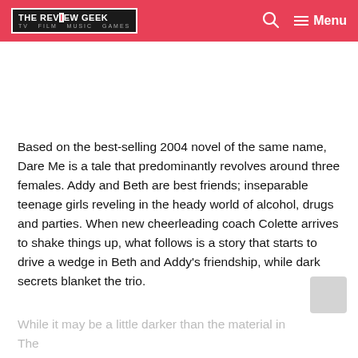THE REVIEW GEEK — TV FILM MUSIC GAMES | Menu
Based on the best-selling 2004 novel of the same name, Dare Me is a tale that predominantly revolves around three females. Addy and Beth are best friends; inseparable teenage girls reveling in the heady world of alcohol, drugs and parties. When new cheerleading coach Colette arrives to shake things up, what follows is a story that starts to drive a wedge in Beth and Addy's friendship, while dark secrets blanket the trio.
While it may be a little darker than the material in The